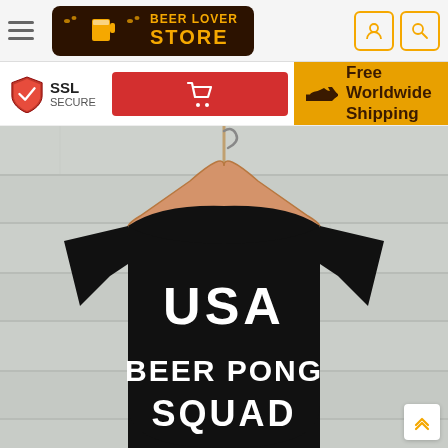[Figure (logo): Beer Lover Store logo with beer mug icons on dark brown background with golden text]
[Figure (infographic): SSL Secure badge with red shield and checkmark]
[Figure (infographic): Red shopping cart button]
Free Worldwide Shipping
[Figure (photo): Black t-shirt on wooden hanger against white wood plank background. T-shirt reads 'USA BEER PONG SQUAD' in white collegiate letters]